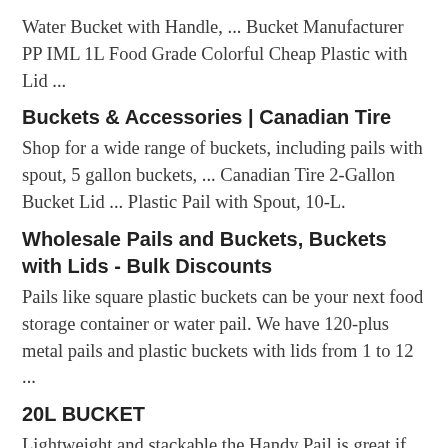Water Bucket with Handle, ... Bucket Manufacturer PP IML 1L Food Grade Colorful Cheap Plastic with Lid ...
Buckets & Accessories | Canadian Tire
Shop for a wide range of buckets, including pails with spout, 5 gallon buckets, ... Canadian Tire 2-Gallon Bucket Lid ... Plastic Pail with Spout, 10-L.
Wholesale Pails and Buckets, Buckets with Lids - Bulk Discounts
Pails like square plastic buckets can be your next food storage container or water pail. We have 120-plus metal pails and plastic buckets with lids from 1 to 12 ...
20L BUCKET
Lightweight and stackable the Handy Pail is great if you need portability. ... Handy Pail 20L Plastic Pail With Lid Bucket with Lid & Tap 20L This 20L ...